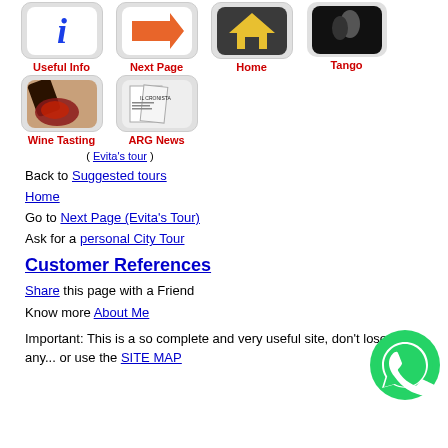[Figure (other): Navigation icon grid with 6 icons: Useful Info (blue i), Next Page (orange arrow), Home (yellow house), Tango (dark photo), Wine Tasting (wine pour), ARG News (newspaper)]
( Evita's tour )
Back to Suggested tours
Home
Go to Next Page (Evita's Tour)
Ask for a personal City Tour
Customer References
Share this page with a Friend
Know more About Me
Important: This is a so complete and very useful site, don't lose any... or use the SITE MAP
[Figure (logo): WhatsApp green circle logo button]